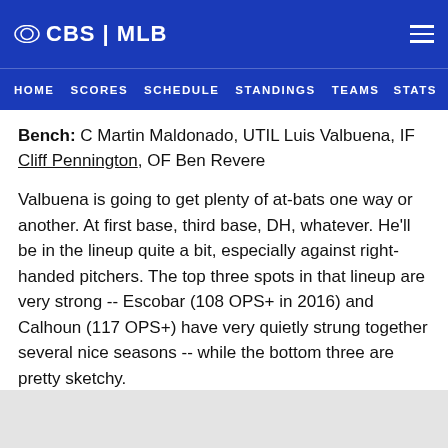CBS | MLB
HOME   SCORES   SCHEDULE   STANDINGS   TEAMS   STATS
Bench: C Martin Maldonado, UTIL Luis Valbuena, IF Cliff Pennington, OF Ben Revere
Valbuena is going to get plenty of at-bats one way or another. At first base, third base, DH, whatever. He'll be in the lineup quite a bit, especially against right-handed pitchers. The top three spots in that lineup are very strong -- Escobar (108 OPS+ in 2016) and Calhoun (117 OPS+) have very quietly strung together several nice seasons -- while the bottom three are pretty sketchy.